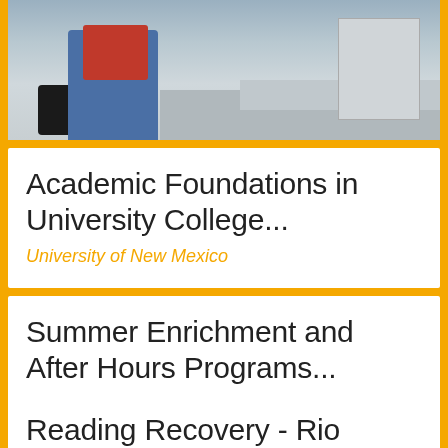[Figure (photo): Photo of a student sitting on concrete steps, wearing jeans and a red shirt, with a backpack nearby]
Academic Foundations in University College...
University of New Mexico
Summer Enrichment and After Hours Programs...
John Adams Middle School
Reading Recovery - Rio Rancho Schools